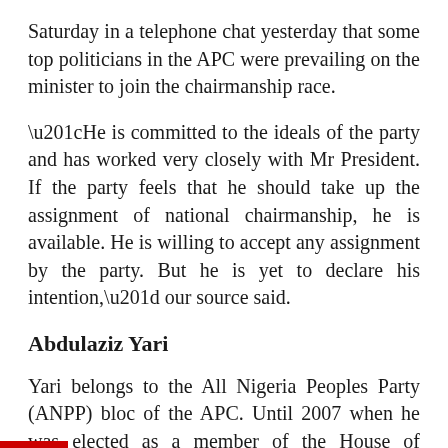Saturday in a telephone chat yesterday that some top politicians in the APC were prevailing on the minister to join the chairmanship race.
“He is committed to the ideals of the party and has worked very closely with Mr President. If the party feels that he should take up the assignment of national chairmanship, he is available. He is willing to accept any assignment by the party. But he is yet to declare his intention,” our source said.
Abdulaziz Yari
Yari belongs to the All Nigeria Peoples Party (ANPP) bloc of the APC. Until 2007 when he was elected as a member of the House of Representatives (Anka/Talata Mafara federal constituency), he had been an official of the party, rising to become its